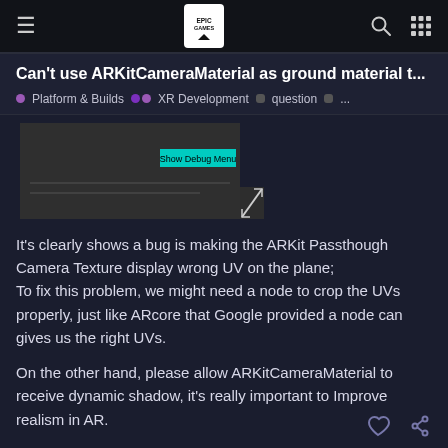Can't use ARKitCameraMaterial as ground material t...
Platform & Builds  XR Development  question  ...
[Figure (screenshot): Screenshot showing a debug view with 'Show Debug Menu' button visible and a resize/expand icon in the lower right corner.]
It's clearly shows a bug is making the ARKit Passthough Camera Texture display wrong UV on the plane;
To fix this problem, we might need a node to crop the UVs properly, just like ARcore that Google provided a node can gives us the right UVs.
On the other hand, please allow ARKitCameraMaterial to receive dynamic shadow, it's really important to Improve realism in AR.